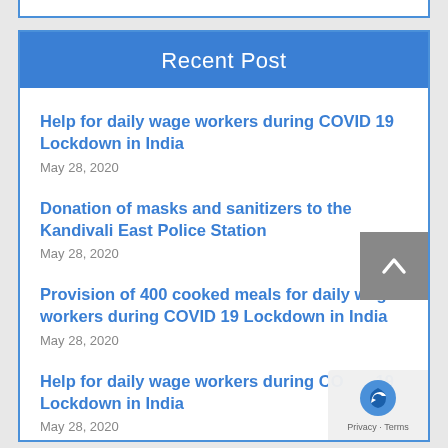Recent Post
Help for daily wage workers during COVID 19 Lockdown in India
May 28, 2020
Donation of masks and sanitizers to the Kandivali East Police Station
May 28, 2020
Provision of 400 cooked meals for daily wage workers during COVID 19 Lockdown in India
May 28, 2020
Help for daily wage workers during COVID 19 Lockdown in India
May 28, 2020